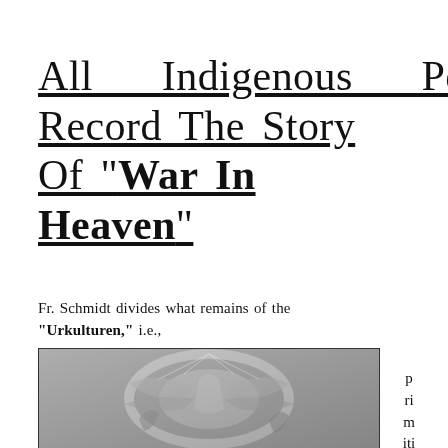All Indigenous Peoples Record The Story Of "War In Heaven"
Fr. Schmidt divides what remains of the "Urkulturen," i.e., primitive civil
[Figure (illustration): Black and white engraving depicting a war in heaven scene with angelic and demonic figures, wings spread, in a dramatic celestial battle]